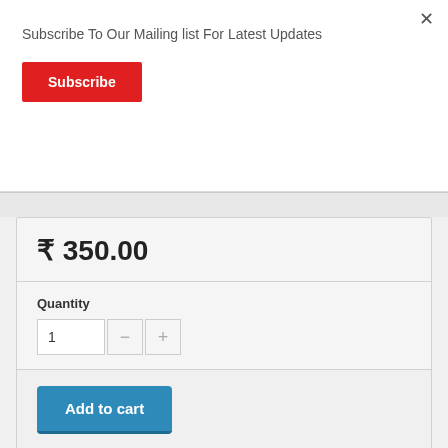Subscribe To Our Mailing list For Latest Updates
Subscribe
₹ 350.00
Quantity
1
Add to cart
Add to wishlist